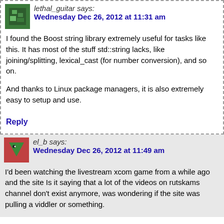lethal_guitar says:
Wednesday Dec 26, 2012 at 11:31 am
I found the Boost string library extremely useful for tasks like this. It has most of the stuff std::string lacks, like joining/splitting, lexical_cast (for number conversion), and so on.
And thanks to Linux package managers, it is also extremely easy to setup and use.
Reply
el_b says:
Wednesday Dec 26, 2012 at 11:49 am
I'd been watching the livestream xcom game from a while ago and the site Is it saying that a lot of the videos on rutskams channel don't exist anymore, was wondering if the site was pulling a viddler or something.